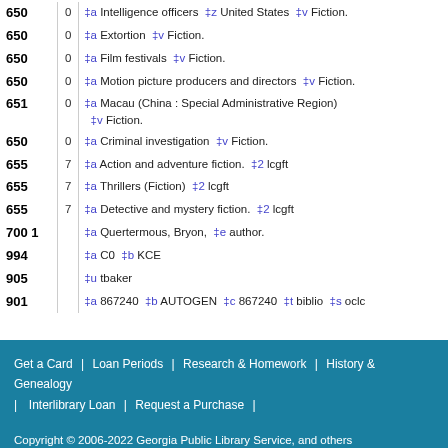| Field | Ind | Data |
| --- | --- | --- |
| 650 | 0 | ‡a Intelligence officers ‡z United States ‡v Fiction. |
| 650 | 0 | ‡a Extortion ‡v Fiction. |
| 650 | 0 | ‡a Film festivals ‡v Fiction. |
| 650 | 0 | ‡a Motion picture producers and directors ‡v Fiction. |
| 651 | 0 | ‡a Macau (China : Special Administrative Region) ‡v Fiction. |
| 650 | 0 | ‡a Criminal investigation ‡v Fiction. |
| 655 | 7 | ‡a Action and adventure fiction. ‡2 lcgft |
| 655 | 7 | ‡a Thrillers (Fiction) ‡2 lcgft |
| 655 | 7 | ‡a Detective and mystery fiction. ‡2 lcgft |
| 700 | 1 | ‡a Quertermous, Bryon, ‡e author. |
| 994 |  | ‡a C0 ‡b KCE |
| 905 |  | ‡u tbaker |
| 901 |  | ‡a 867240 ‡b AUTOGEN ‡c 867240 ‡t biblio ‡s oclc |
Get a Card | Loan Periods | Research & Homework | History & Genealogy | Interlibrary Loan | Request a Purchase | Copyright © 2006-2022 Georgia Public Library Service, and others Powered by EVERGREEN